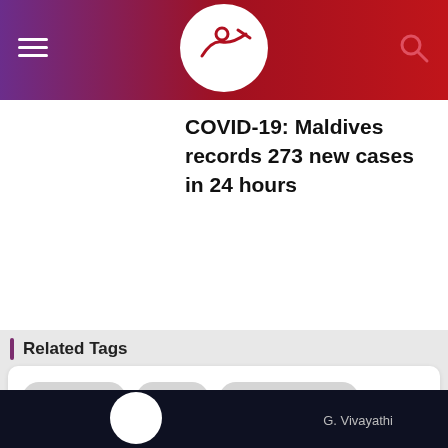COVID-19: Maldives records 273 new cases in 24 hours
Related Tags
Local News
Health
Ministry of Health
Health and Wellness
Statistics
G. Vivayathi